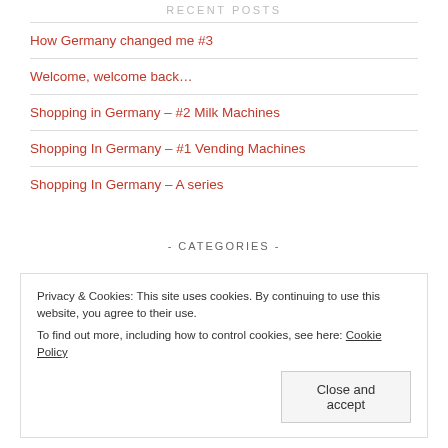RECENT POSTS
How Germany changed me #3
Welcome, welcome back…
Shopping in Germany – #2 Milk Machines
Shopping In Germany – #1 Vending Machines
Shopping In Germany – A series
- CATEGORIES -
Privacy & Cookies: This site uses cookies. By continuing to use this website, you agree to their use.
To find out more, including how to control cookies, see here: Cookie Policy
Close and accept